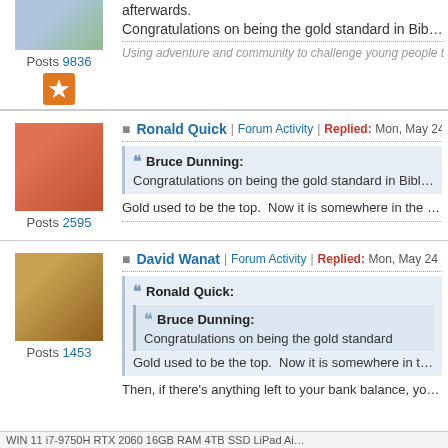afterwards.
Congratulations on being the gold standard in Bible study soft...
Using adventure and community to challenge young people to cont...
Ronald Quick | Forum Activity | Replied: Mon, May 24 2021 6:49 AM
Bruce Dunning: Congratulations on being the gold standard in Bible s...
Gold used to be the top. Now it is somewhere in the middle b...
David Wanat | Forum Activity | Replied: Mon, May 24 2021 7:22 AM
Ronald Quick: Bruce Dunning: Congratulations on being the gold standard...
Gold used to be the top. Now it is somewhere in the...
Then, if there's anything left to your bank balance, you can try...
WIN 11 i7-9750H RTX 2060 16GB RAM 4TB SSD LiPad Ai...